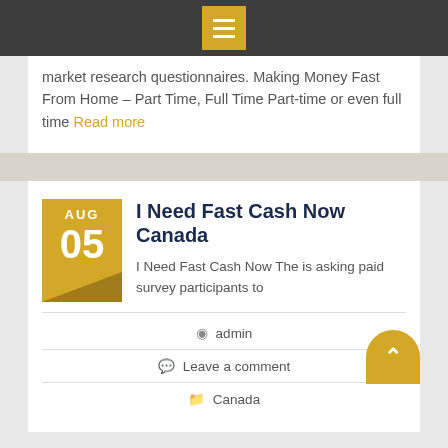Navigation menu bar
market research questionnaires. Making Money Fast From Home – Part Time, Full Time Part-time or even full time Read more
I Need Fast Cash Now Canada
I Need Fast Cash Now The is asking paid survey participants to
admin
Leave a comment
Canada